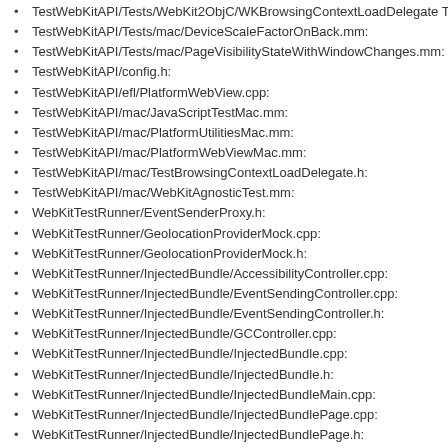TestWebKitAPI/Tests/WebKit2ObjC/WKBrowsingContextLoadDelegate Test.m:
TestWebKitAPI/Tests/mac/DeviceScaleFactorOnBack.mm:
TestWebKitAPI/Tests/mac/PageVisibilityStateWithWindowChanges.mm:
TestWebKitAPI/config.h:
TestWebKitAPI/efl/PlatformWebView.cpp:
TestWebKitAPI/mac/JavaScriptTestMac.mm:
TestWebKitAPI/mac/PlatformUtilitiesMac.mm:
TestWebKitAPI/mac/PlatformWebViewMac.mm:
TestWebKitAPI/mac/TestBrowsingContextLoadDelegate.h:
TestWebKitAPI/mac/WebKitAgnosticTest.mm:
WebKitTestRunner/EventSenderProxy.h:
WebKitTestRunner/GeolocationProviderMock.cpp:
WebKitTestRunner/GeolocationProviderMock.h:
WebKitTestRunner/InjectedBundle/AccessibilityController.cpp:
WebKitTestRunner/InjectedBundle/EventSendingController.cpp:
WebKitTestRunner/InjectedBundle/EventSendingController.h:
WebKitTestRunner/InjectedBundle/GCController.cpp:
WebKitTestRunner/InjectedBundle/InjectedBundle.cpp:
WebKitTestRunner/InjectedBundle/InjectedBundle.h:
WebKitTestRunner/InjectedBundle/InjectedBundleMain.cpp:
WebKitTestRunner/InjectedBundle/InjectedBundlePage.cpp:
WebKitTestRunner/InjectedBundle/InjectedBundlePage.h:
WebKitTestRunner/InjectedBundle/TestRunner.cpp:
WebKitTestRunner/InjectedBundle/TestRunner.h:
WebKitTestRunner/InjectedBundle/TextInputController.cpp:
WebKitTestRunner/InjectedBundle/atk/AccessibilityControllerAtk.cpp:
WebKitTestRunner/InjectedBundle/atk/AccessibilityNotificationHandlerAtk.cpp: